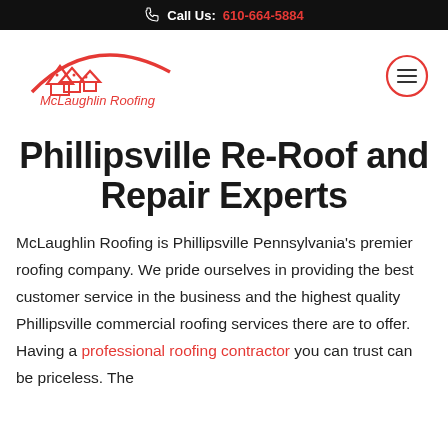Call Us: 610-664-5884
[Figure (logo): McLaughlin Roofing logo with red roof house graphic and curved swoosh, red text reading McLaughlin Roofing]
[Figure (other): Hamburger menu button inside a red circle border]
Phillipsville Re-Roof and Repair Experts
McLaughlin Roofing is Phillipsville Pennsylvania’s premier roofing company. We pride ourselves in providing the best customer service in the business and the highest quality Phillipsville commercial roofing services there are to offer. Having a professional roofing contractor you can trust can be priceless. The